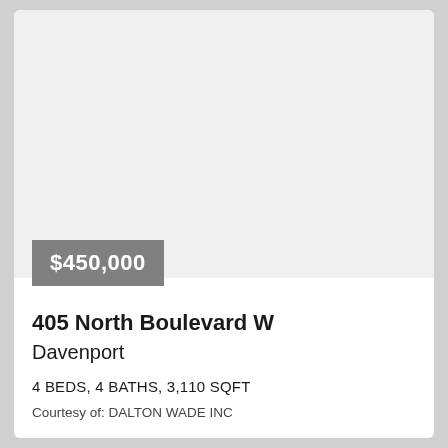[Figure (photo): Property photo area (white/light gray placeholder)]
$450,000
405 North Boulevard W
Davenport
4 BEDS, 4 BATHS, 3,110 SQFT
Courtesy of: DALTON WADE INC